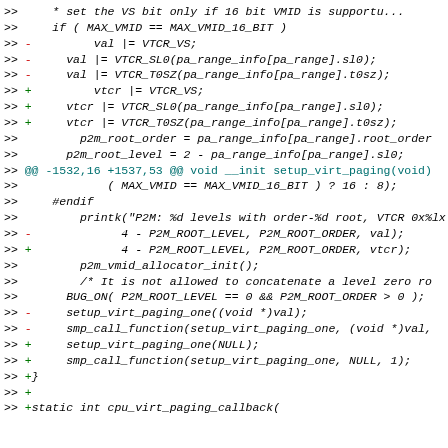code diff showing changes to virtual paging setup functions
[Figure (screenshot): Source code diff in monospace font showing git diff output with lines prefixed by >> and +/- indicators, changes to VTCR_VS, VTCR_SL0, VTCR_T0SZ val/vtcr variables, and setup_virt_paging functions]